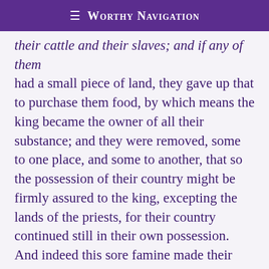≡ Worthy Navigation
their cattle and their slaves; and if any of them had a small piece of land, they gave up that to purchase them food, by which means the king became the owner of all their substance; and they were removed, some to one place, and some to another, that so the possession of their country might be firmly assured to the king, excepting the lands of the priests, for their country continued still in their own possession. And indeed this sore famine made their minds, as well as their bodies, slaves; and at length compelled them to procure a sufficiency of food by such dishonorable means. But when this misery ceased, and the river overflowed the ground, and the ground brought forth its fruits plentifully, Joseph came to every city, and gathered the people thereto belonging together, and gave them back